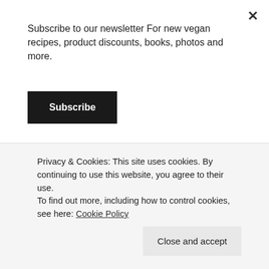Subscribe to our newsletter For new vegan recipes, product discounts, books, photos and more.
Subscribe
[Figure (photo): Photo of chocolate-covered balls in a white bowl next to a blue 'Creati Natu' (Creative Nature) branded package, on a dark background.]
Privacy & Cookies: This site uses cookies. By continuing to use this website, you agree to their use.
To find out more, including how to control cookies, see here: Cookie Policy
Close and accept